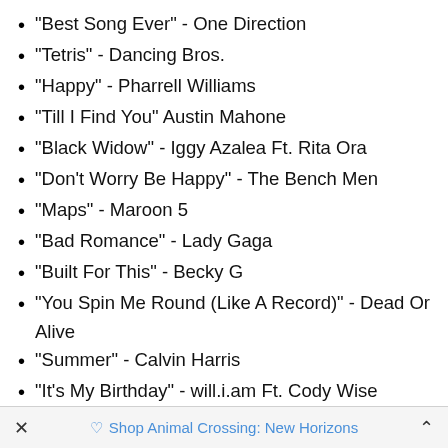"Best Song Ever" - One Direction
"Tetris" - Dancing Bros.
"Happy" - Pharrell Williams
"Till I Find You" Austin Mahone
"Black Widow" - Iggy Azalea Ft. Rita Ora
"Don't Worry Be Happy" - The Bench Men
"Maps" - Maroon 5
"Bad Romance" - Lady Gaga
"Built For This" - Becky G
"You Spin Me Round (Like A Record)" - Dead Or Alive
"Summer" - Calvin Harris
"It's My Birthday" - will.i.am Ft. Cody Wise
"Let It Go" - Disney's Frozen
"Ain't No Mountain High Enough" - Marvin Gaye and Tammi Terrell
× ♡ Shop Animal Crossing: New Horizons ^